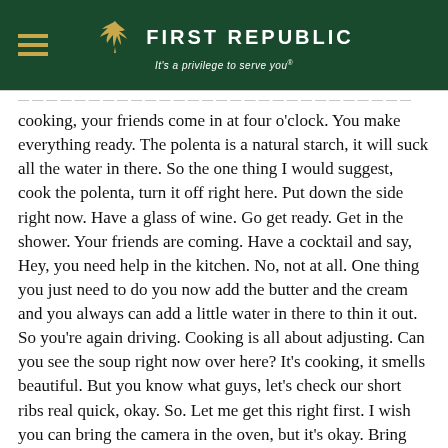First Republic — It's a privilege to serve you®
cooking, your friends come in at four o'clock. You make everything ready. The polenta is a natural starch, it will suck all the water in there. So the one thing I would suggest, cook the polenta, turn it off right here. Put down the side right now. Have a glass of wine. Go get ready. Get in the shower. Your friends are coming. Have a cocktail and say, Hey, you need help in the kitchen. No, not at all. One thing you just need to do you now add the butter and the cream and you always can add a little water in there to thin it out. So you're again driving. Cooking is all about adjusting. Can you see the soup right now over here? It's cooking, it smells beautiful. But you know what guys, let's check our short ribs real quick, okay. So. Let me get this right first. I wish you can bring the camera in the oven, but it's okay. Bring that out. So see right now. So right here, you can see my short ribs is already cooking. Look at that, look how beautiful that looks, okay.
Garry - I don't know if you could come over here.